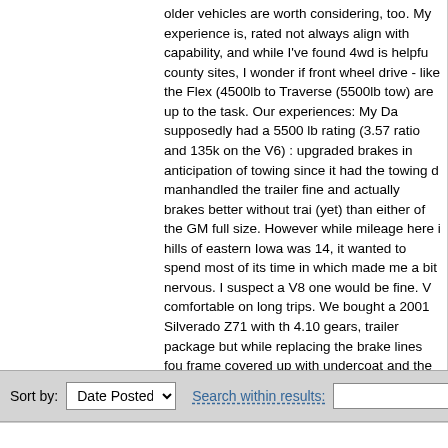older vehicles are worth considering, too. My experience is, rated not always align with capability, and while I've found 4wd is helpful county sites, I wonder if front wheel drive - like the Flex (4500lb to Traverse (5500lb tow) are up to the task. Our experiences: My Da supposedly had a 5500 lb rating (3.57 ratio and 135k on the V6) : upgraded brakes in anticipation of towing since it had the towing d manhandled the trailer fine and actually brakes better without trai (yet) than either of the GM full size. However while mileage here i hills of eastern Iowa was 14, it wanted to spend most of its time in which made me a bit nervous. I suspect a V8 one would be fine. V comfortable on long trips. We bought a 2001 Silverado Z71 with th 4.10 gears, trailer package but while replacing the brake lines fou frame covered up with undercoat and the rear axle leaked like a s replace it with the Yukon (340k) also with the 5.3 and 3.73 gears. towed well, rarely went out of overdrive, and got 14/21 not towing towing, and climbed those steep hills along the Mississppi. By con Yukon will only tow in third and wants to shift liberally to second; r best is 10/17 not towing and 8 towing, on the same roads as the S struggles on steep hills. Both of these newer trucks kill my back. A Silverado K1500HD (trailer package and 350, extended cab long and got better mileage than this Yukon does with the '71 Holiday h Vacationer we had some years back. That truck was much easier too. So what are other's experiences with towing trailers around th there better choices without spending a huge amount? Thanks, B
Sort by: Date Posted   Search within results: